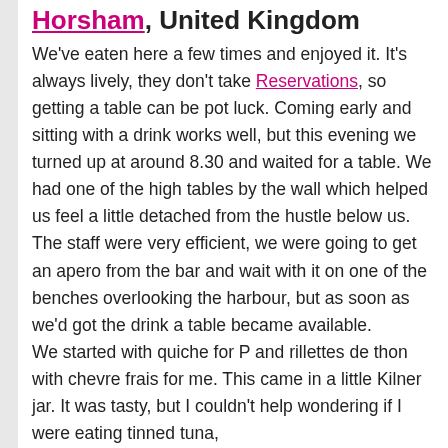Horsham, United Kingdom
We've eaten here a few times and enjoyed it. It's always lively, they don't take Reservations, so getting a table can be pot luck. Coming early and sitting with a drink works well, but this evening we turned up at around 8.30 and waited for a table. We had one of the high tables by the wall which helped us feel a little detached from the hustle below us. The staff were very efficient, we were going to get an apero from the bar and wait with it on one of the benches overlooking the harbour, but as soon as we'd got the drink a table became available.
We started with quiche for P and rillettes de thon with chevre frais for me. This came in a little Kilner jar. It was tasty, but I couldn't help wondering if I were eating tinned tuna,